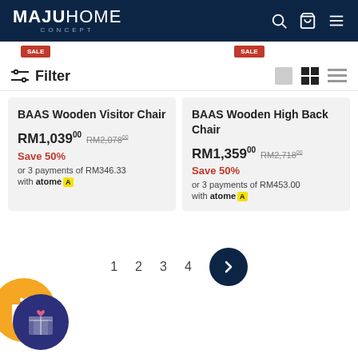MAJUHOME CONCEPT
BAAS Wooden Visitor Chair
RM1,039.00  RM2,078.00
Save 50%
or 3 payments of RM346.33
with atome A
BAAS Wooden High Back Chair
RM1,359.00  RM2,718.00
Save 50%
or 3 payments of RM453.00
with atome A
Filter
1  2  3  4  >